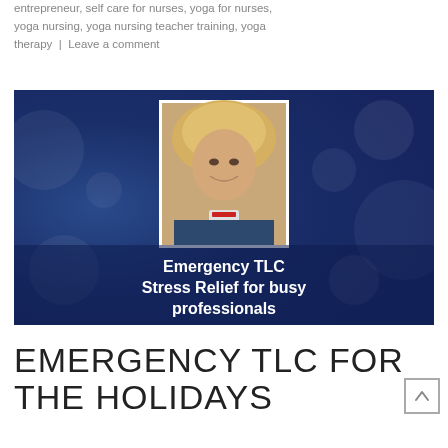entrepreneur, self care for nurses, yoga for nurses, yoga nursing, yoga nursing teacher training, yoga therapy | Leave a comment
[Figure (photo): Promotional image with blue background and bokeh effect. A woman with blonde hair and a badge is shown in a portrait photo. Text overlay reads: Emergency TLC Stress Relief for busy professionals]
EMERGENCY TLC FOR THE HOLIDAYS